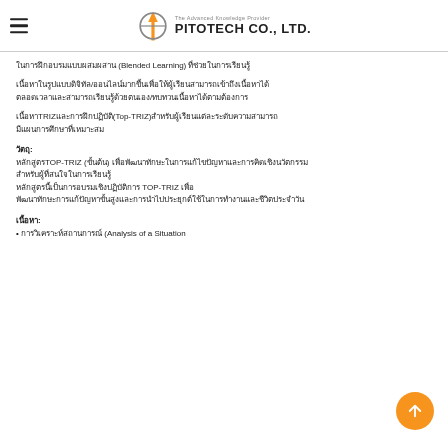The Advanced Knowledge Provider PITOTECH CO., LTD.
ในการฝึกอบรมแบบผสมผสาน (Blended Learning) ที่ช่วยในการเรียนรู้
เนื้อหาTRIZและการฝึกปฏิบัติ(Top-TRIZ)สำหรับผู้เรียนแต่ละระดับความสามารถ
วัตถุ:
หลักสูตรTOP-TRIZ (ขั้นต้น) เพื่อพัฒนาทักษะในการแก้ไขปัญหาและการคิดเชิงนวัตกรรม
สำหรับผู้ที่สนใจในการเรียนรู้ TOP-TRIZ เพื่อนำไปประยุกต์ใช้ในการทำงานและการพัฒนาความสามารถในการแก้ปัญหาขั้นสูง
เนื้อหา:
• การวิเคราะห์สถานการณ์ (Analysis of a Situation